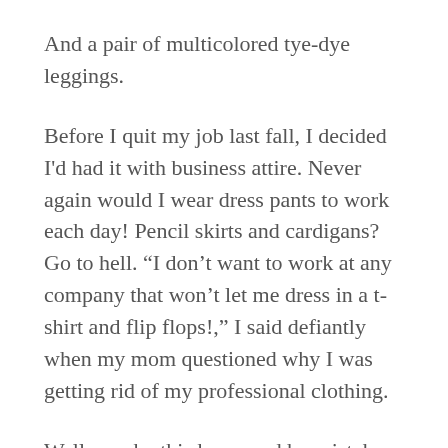And a pair of multicolored tye-dye leggings.
Before I quit my job last fall, I decided I'd had it with business attire. Never again would I wear dress pants to work each day! Pencil skirts and cardigans? Go to hell. “I don’t want to work at any company that won’t let me dress in a t-shirt and flip flops!,” I said defiantly when my mom questioned why I was getting rid of my professional clothing.
Well, maybe this happened by mistake or maybe on purpose (her purpose, not mine), but many of these business pieces weren’t stuck with little blue and green tags and sold to someone who needed a cheap option or